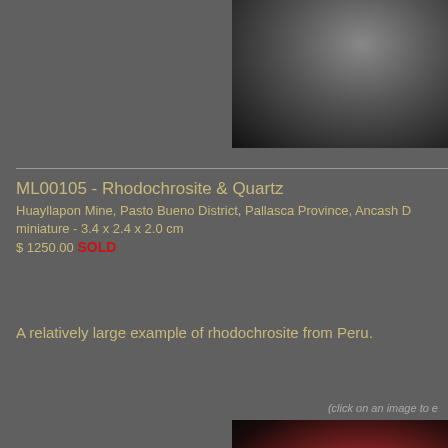[Figure (photo): Top-right mineral specimen photo on black background, gray/silver mineral crystal]
ML00105 - Rhodochrosite & Quartz
Huayllapon Mine, Pasto Bueno District, Pallasca Province, Ancash D
miniature - 3.4 x 2.4 x 2.0 cm
$ 1250.00 SOLD
A relatively large example of rhodochrosite from Peru.
(click on an image to e
[Figure (photo): Bottom-right mineral specimen photo on black background, red/pink rhodochrosite crystal]